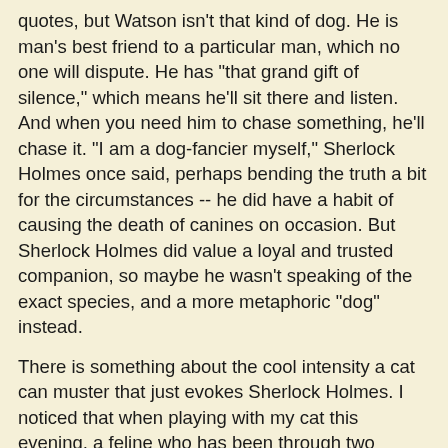quotes, but Watson isn't that kind of dog. He is man's best friend to a particular man, which no one will dispute. He has "that grand gift of silence," which means he'll sit there and listen. And when you need him to chase something, he'll chase it. "I am a dog-fancier myself," Sherlock Holmes once said, perhaps bending the truth a bit for the circumstances -- he did have a habit of causing the death of canines on occasion. But Sherlock Holmes did value a loyal and trusted companion, so maybe he wasn't speaking of the exact species, and a more metaphoric "dog" instead.
There is something about the cool intensity a cat can muster that just evokes Sherlock Holmes. I noticed that when playing with my cat this evening, a feline who has been through two Sherlockian owners. A dog will chase, attack, and fight, yes, but they always seem so angry about it.
And it's interesting to see whom Sherlock Holmes thinks is like a cat: the Baron Adelbert Gruner.
"A purring cat who thinks he sees prospective mice." "A precise, tidy cat of a man." "An excellent antagonist, cool as